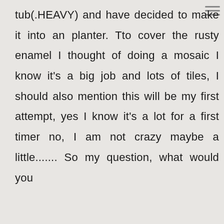tub(.HEAVY) and have decided to make it into an planter. Tto cover the rusty enamel I thought of doing a mosaic I know it's a big job and lots of tiles, I should also mention this will be my first attempt, yes I know it's a lot for a first timer no, I am not crazy maybe a little....... So my question, what would you